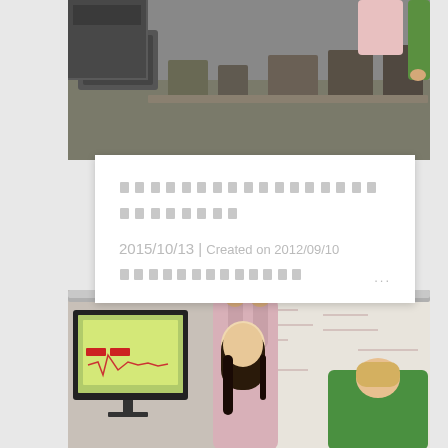[Figure (photo): Laboratory scene with researchers working on optical equipment. Person in green shirt visible from above adjusting instruments on a laser optics table.]
2015/10/13 | Created on 2012/09/10
...
[Figure (photo): Two researchers in a laboratory. A woman in pink shirt reaching up to adjust equipment on a rail, and another person in green shirt working below. A computer monitor showing lab software is visible on the left, and a whiteboard with equations is in the background.]